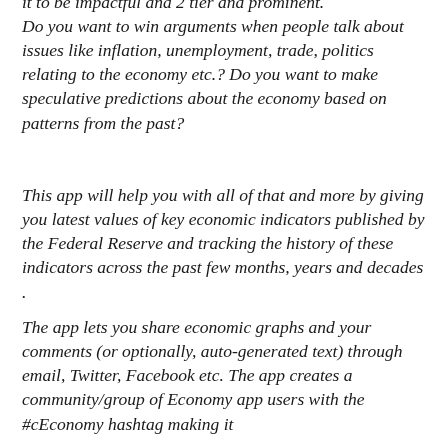it to be impactful and 2 tier and prominent.
Do you want to win arguments when people talk about issues like inflation, unemployment, trade, politics relating to the economy etc.? Do you want to make speculative predictions about the economy based on patterns from the past?
This app will help you with all of that and more by giving you latest values of key economic indicators published by the Federal Reserve and tracking the history of these indicators across the past few months, years and decades .
The app lets you share economic graphs and your comments (or optionally, auto-generated text) through email, Twitter, Facebook etc. The app creates a community/group of Economy app users with the #cEconomy hashtag making it